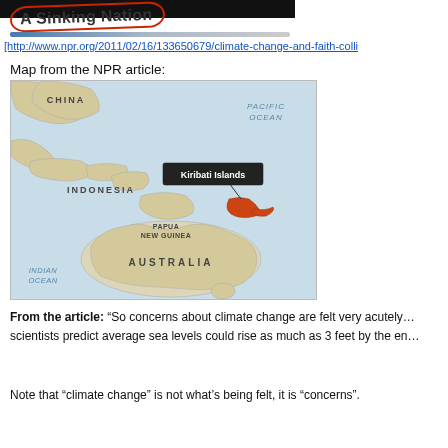[Figure (screenshot): Black image strip at top of page, partial screenshot header]
A Sinking Nation
[http://www.npr.org/2011/02/16/133650679/climate-change-and-faith-colli...
Map from the NPR article:
[Figure (map): Map showing Pacific region with China, Indonesia, Papua New Guinea, Australia, Indian Ocean, Pacific Ocean labeled. Kiribati Islands marked with a dark callout box and orange island shape.]
From the article: “So concerns about climate change are felt very acutely... scientists predict average sea levels could rise as much as 3 feet by the en...
Note that “climate change” is not what’s being felt, it is “concerns”.